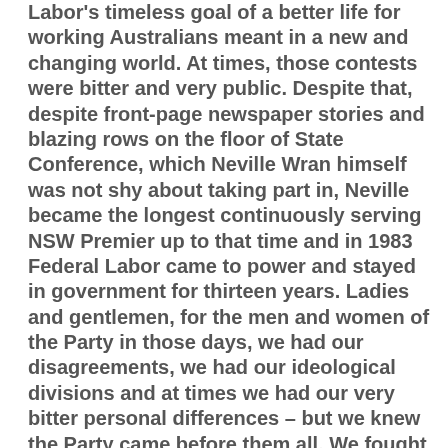Labor's timeless goal of a better life for working Australians meant in a new and changing world. At times, those contests were bitter and very public. Despite that, despite front-page newspaper stories and blazing rows on the floor of State Conference, which Neville Wran himself was not shy about taking part in, Neville became the longest continuously serving NSW Premier up to that time and in 1983 Federal Labor came to power and stayed in government for thirteen years. Ladies and gentlemen, for the men and women of the Party in those days, we had our disagreements, we had our ideological divisions and at times we had our very bitter personal differences – but we knew the Party came before them all. We fought hard, and if we lost – and being on the Left I often lost, actually I always lost – we set our sights on the next issue. And we set aside our differences in opinion to work together when the Party's interests were threatened or election campaigns rolled around. The Party was, and was known to be, diverse. But it was not disunited. And none of us were disloyal. In the NSW Parliamentary caucus, as well as at